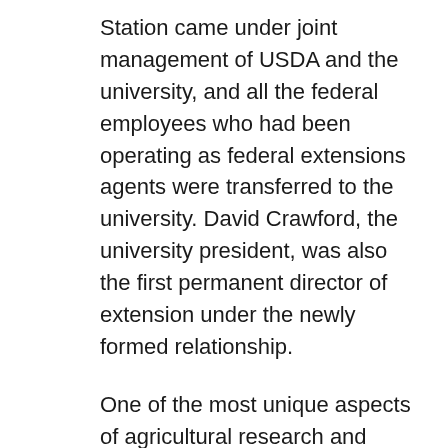Station came under joint management of USDA and the university, and all the federal employees who had been operating as federal extensions agents were transferred to the university. David Crawford, the university president, was also the first permanent director of extension under the newly formed relationship.
One of the most unique aspects of agricultural research and education in Hawai'i, since the early 1900s, has been the cooperative relationship that prevailed among various entities concerned with creating successful agriculture in the Islands.
This included the US Agricultural Experiment Station, the Hawaiian Sugar Planters' Association (now the Hawaii Agriculture